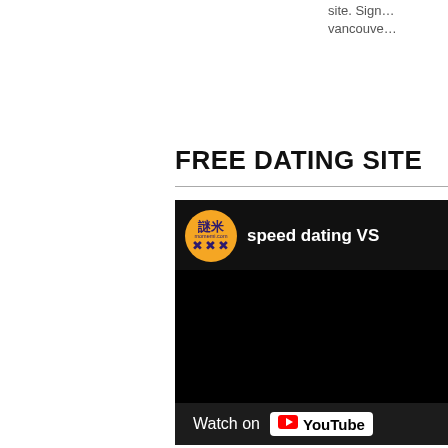site. sign... vancouve...
FREE DATING SITE
[Figure (screenshot): A YouTube video embed showing a channel logo (orange circle with Chinese characters and 'momemi.com' text) and partial title text 'speed dating VS' on a dark background, with a 'Watch on YouTube' button at the bottom.]